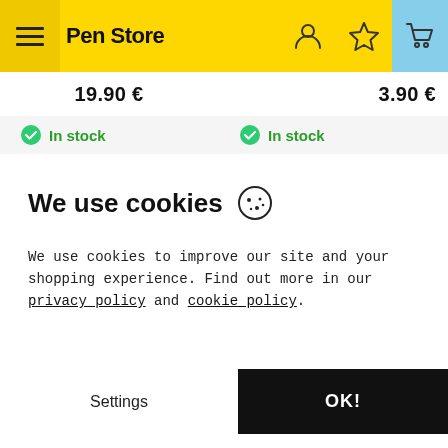Pen Store
19.90 €   3.90 €
In stock   In stock
We use cookies
We use cookies to improve our site and your shopping experience. Find out more in our privacy policy and cookie policy.
Settings   OK!